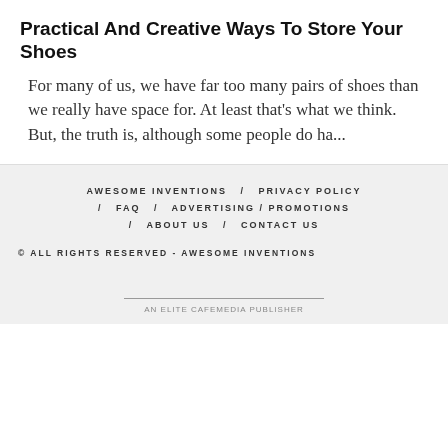Practical And Creative Ways To Store Your Shoes
For many of us, we have far too many pairs of shoes than we really have space for. At least that's what we think. But, the truth is, although some people do ha...
AWESOME INVENTIONS / PRIVACY POLICY / FAQ / ADVERTISING / PROMOTIONS / ABOUT US / CONTACT US
© ALL RIGHTS RESERVED - AWESOME INVENTIONS
AN ELITE CAFEMEDIA PUBLISHER